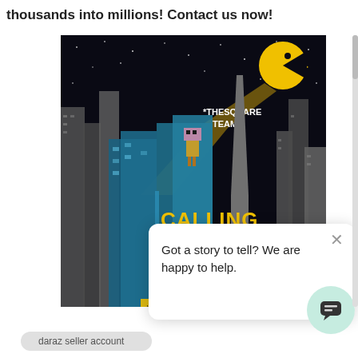thousands into millions! Contact us now!
[Figure (illustration): Promotional image for TheSquare Team / SquarePeg digital marketing agency. Dark nighttime city skyline with blue skyscrapers. A yellow Pac-Man character in upper right shines a beam. A robot character stands on a rooftop. Large yellow bold text reads 'CALLING TEAM SQUAREPEG' with subtitle 'Your Digital M...' and website 'www.thesopeg.com'. A small SquarePeg logo appears overlaid in the lower right of the image.]
Got a story to tell? We are happy to help.
daraz seller account